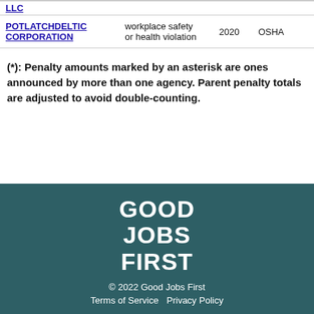| Company | Violation Type | Year | Agency |
| --- | --- | --- | --- |
| LLC |  |  |  |
| POTLATCHDELTIC CORPORATION | workplace safety or health violation | 2020 | OSHA |
(*): Penalty amounts marked by an asterisk are ones announced by more than one agency. Parent penalty totals are adjusted to avoid double-counting.
GOOD JOBS FIRST
© 2022 Good Jobs First
Terms of Service  Privacy Policy